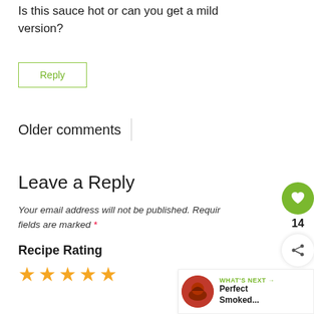Is this sauce hot or can you get a mild version?
Reply
Older comments
Leave a Reply
Your email address will not be published. Required fields are marked *
Recipe Rating
[Figure (other): Five empty star rating icons in orange/yellow color]
[Figure (other): Green circular heart/like button with count 14 and share icon button]
[Figure (other): What's Next widget with thumbnail and text 'Perfect Smoked...']